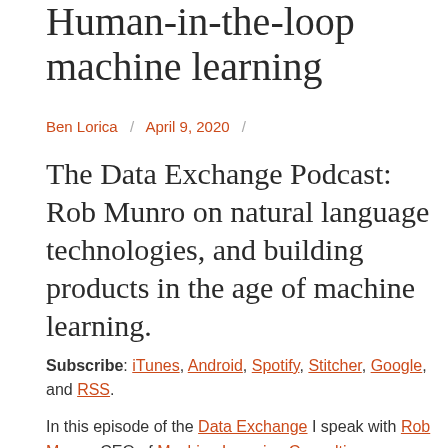Human-in-the-loop machine learning
Ben Lorica / April 9, 2020 /
The Data Exchange Podcast: Rob Munro on natural language technologies, and building products in the age of machine learning.
Subscribe: iTunes, Android, Spotify, Stitcher, Google, and RSS.
In this episode of the Data Exchange I speak with Rob Munro, CEO of Machine Learning Consulting